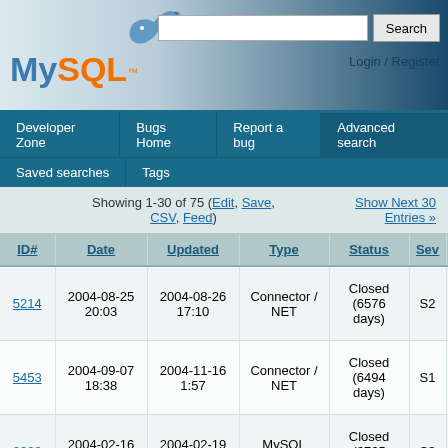[Figure (screenshot): MySQL logo with dolphin graphic]
Search | Login / Register
Developer Zone | Bugs Home | Report a bug | Advanced search | Saved searches | Tags
Showing 1-30 of 75 (Edit, Save, CSV, Feed)
Show Next 30 Entries »
| ID# | Date | Updated | Type | Status | Sev | Ver |
| --- | --- | --- | --- | --- | --- | --- |
| 5214 | 2004-08-25 20:03 | 2004-08-26 17:10 | Connector / NET | Closed (6576 days) | S2 | 0.76 |
| 5453 | 2004-09-07 18:38 | 2004-11-16 1:57 | Connector / NET | Closed (6494 days) | S1 | 1.0. |
| 2828 | 2004-02-16 9:49 | 2004-02-19 11:33 | MySQL Administrator | Closed (6765 days) | S3 | 1.0. |
| 4329 | 2004-06-29 18:33 | 2004-07-12 18:33 | MySQL Query Browser | Closed (6621 days) | S1 | 1.0. |